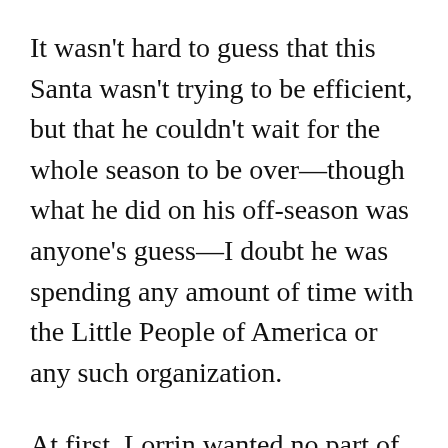It wasn't hard to guess that this Santa wasn't trying to be efficient, but that he couldn't wait for the whole season to be over—though what he did on his off-season was anyone's guess—I doubt he was spending any amount of time with the Little People of America or any such organization.
At first, Lorrin wanted no part of Santa's workshop that year. He tried bouncing her on his boney lap. Nothing. He handed her a candy cane early. Still nothing. Finally,